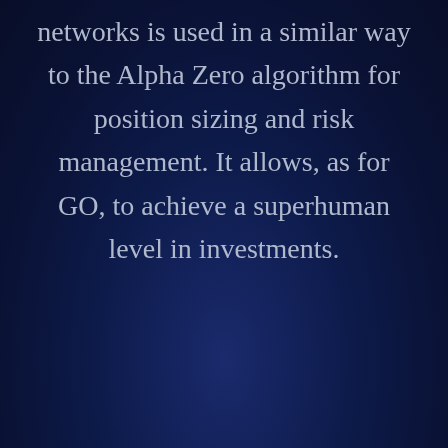networks is used in a similar way to the Alpha Zero algorithm for position sizing and risk management. It allows, as for GO, to achieve a superhuman level in investments.